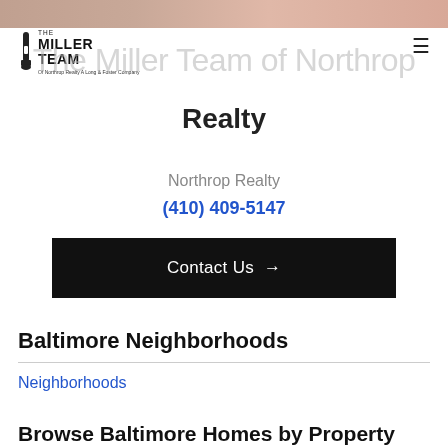[Figure (photo): Top banner image showing people, partially cropped]
The Miller Team of Northrop Realty A Long & Foster Company
The Miller Team of Northrop Realty
Northrop Realty
(410) 409-5147
Contact Us →
Baltimore Neighborhoods
Neighborhoods
Browse Baltimore Homes by Property Type